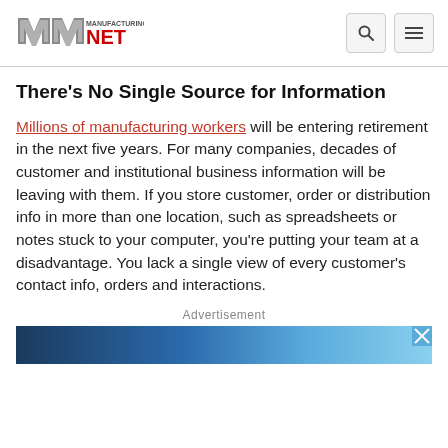Manufacturing.net
There's No Single Source for Information
Millions of manufacturing workers will be entering retirement in the next five years. For many companies, decades of customer and institutional business information will be leaving with them. If you store customer, order or distribution info in more than one location, such as spreadsheets or notes stuck to your computer, you're putting your team at a disadvantage. You lack a single view of every customer's contact info, orders and interactions.
Advertisement